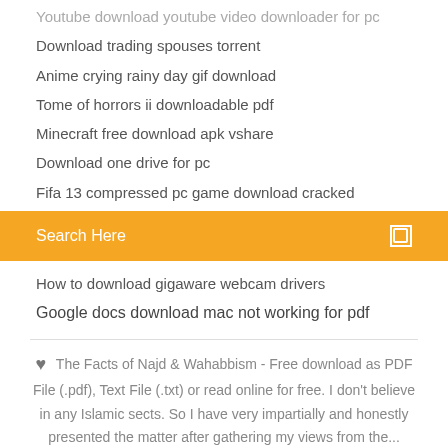Youtube download youtube video downloader for pc
Download trading spouses torrent
Anime crying rainy day gif download
Tome of horrors ii downloadable pdf
Minecraft free download apk vshare
Download one drive for pc
Fifa 13 compressed pc game download cracked
[Figure (screenshot): Search bar with orange background and text 'Search Here']
How to download gigaware webcam drivers
Google docs download mac not working for pdf
The Facts of Najd & Wahabbism - Free download as PDF File (.pdf), Text File (.txt) or read online for free. I don't believe in any Islamic sects. So I have very impartially and honestly presented the matter after gathering my views from the...
[Figure (infographic): Social sharing icons: facebook, twitter, dribbble, behance]